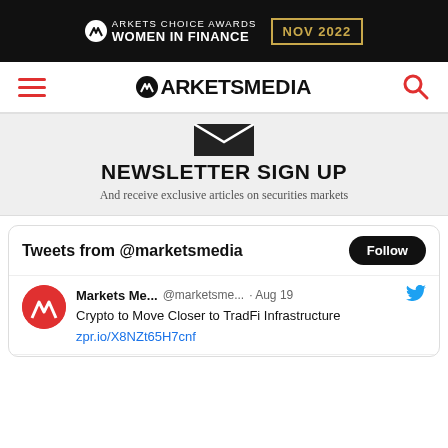[Figure (logo): Markets Choice Awards Women in Finance NOV 2022 banner advertisement on black background with gold border date box]
[Figure (logo): MarketsMedia navigation bar with red hamburger menu, MarketsMedia logo center, red search icon right]
[Figure (logo): Newsletter sign up section with envelope icon on gray background]
NEWSLETTER SIGN UP
And receive exclusive articles on securities markets
Tweets from @marketsmedia
Markets Me... @marketsme... · Aug 19 Crypto to Move Closer to TradFi Infrastructure zpr.io/X8NZt65H7cnf